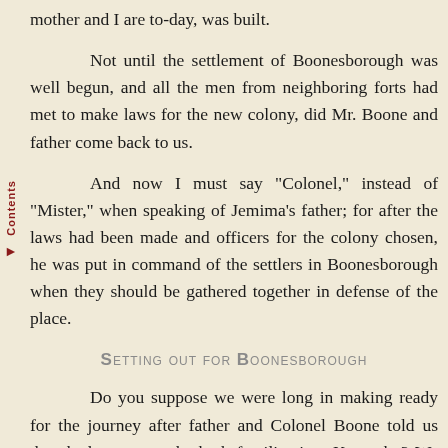mother and I are to-day, was built.
Not until the settlement of Boonesborough was well begun, and all the men from neighboring forts had met to make laws for the new colony, did Mr. Boone and father come back to us.
And now I must say "Colonel," instead of "Mister," when speaking of Jemima's father; for after the laws had been made and officers for the colony chosen, he was put in command of the settlers in Boonesborough when they should be gathered together in defense of the place.
Setting out for Boonesborough
Do you suppose we were long in making ready for the journey after father and Colonel Boone told us they had come to take both families into Kentucky? We children worked as we never had